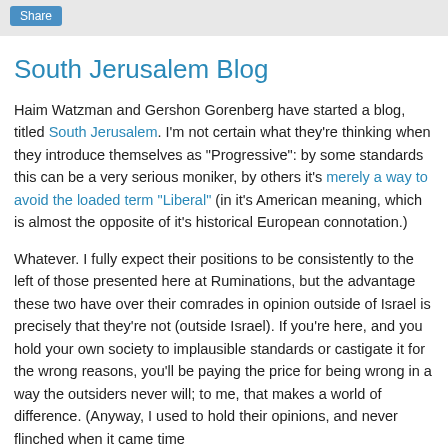Share
South Jerusalem Blog
Haim Watzman and Gershon Gorenberg have started a blog, titled South Jerusalem. I'm not certain what they're thinking when they introduce themselves as "Progressive": by some standards this can be a very serious moniker, by others it's merely a way to avoid the loaded term "Liberal" (in it's American meaning, which is almost the opposite of it's historical European connotation.)
Whatever. I fully expect their positions to be consistently to the left of those presented here at Ruminations, but the advantage these two have over their comrades in opinion outside of Israel is precisely that they're not (outside Israel). If you're here, and you hold your own society to implausible standards or castigate it for the wrong reasons, you'll be paying the price for being wrong in a way the outsiders never will; to me, that makes a world of difference. (Anyway, I used to hold their opinions, and never flinched when it came time